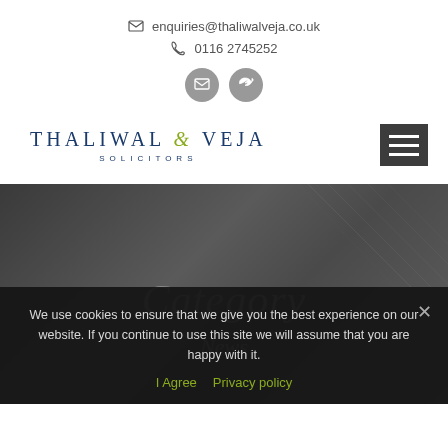enquiries@thaliwalveja.co.uk
0116 2745252
[Figure (logo): Social media icons: email envelope circle and Twitter bird circle, both in grey]
[Figure (logo): Thaliwal & Veja Solicitors logo with blue uppercase text and olive-green italic ampersand]
[Figure (other): Hamburger menu icon with three white lines on dark grey background]
Category
News
We use cookies to ensure that we give you the best experience on our website. If you continue to use this site we will assume that you are happy with it.
I Agree   Privacy policy